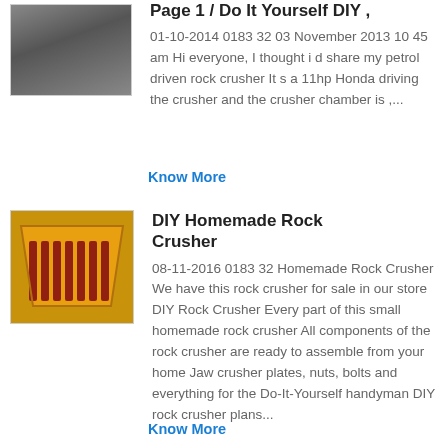Page 1 / Do It Yourself DIY ,
01-10-2014 0183 32 03 November 2013 10 45 am Hi everyone, I thought i d share my petrol driven rock crusher It s a 11hp Honda driving the crusher and the crusher chamber is ,...
Know More
[Figure (photo): Small thumbnail image of a rock crusher machine]
DIY Homemade Rock Crusher
08-11-2016 0183 32 Homemade Rock Crusher We have this rock crusher for sale in our store DIY Rock Crusher Every part of this small homemade rock crusher All components of the rock crusher are ready to assemble from your home Jaw crusher plates, nuts, bolts and everything for the Do-It-Yourself handyman DIY rock crusher plans...
Know More